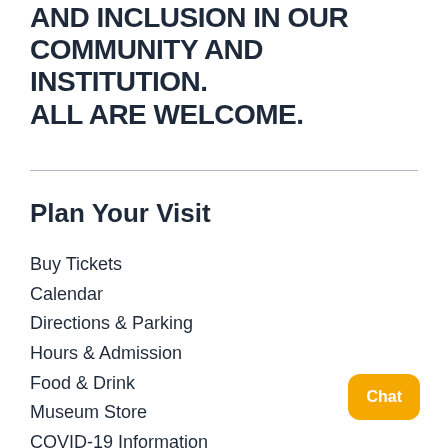AND INCLUSION IN OUR COMMUNITY AND INSTITUTION. ALL ARE WELCOME.
Plan Your Visit
Buy Tickets
Calendar
Directions & Parking
Hours & Admission
Food & Drink
Museum Store
COVID-19 Information
Accessibility
Group Visits